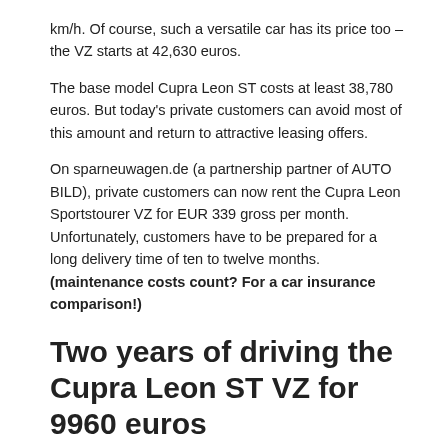km/h. Of course, such a versatile car has its price too – the VZ starts at 42,630 euros.
The base model Cupra Leon ST costs at least 38,780 euros. But today's private customers can avoid most of this amount and return to attractive leasing offers.
On sparneuwagen.de (a partnership partner of AUTO BILD), private customers can now rent the Cupra Leon Sportstourer VZ for EUR 339 gross per month. Unfortunately, customers have to be prepared for a long delivery time of ten to twelve months. (maintenance costs count? For a car insurance comparison!)
Two years of driving the Cupra Leon ST VZ for 9960 euros
The monthly fare is the cheapest at 339 euros with a period of 48 months and a mileage of 10,000 kilometers per year. Alternatively, a contract term of 36 (365 euros gross) or 24 months (415 euros gross) can be selected.